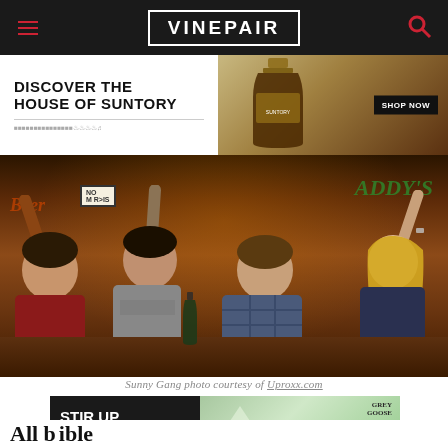VINEPAIR
[Figure (photo): Advertisement banner for House of Suntory whisky with bottle and Shop Now button]
[Figure (photo): Photo of four people (Sunny Gang) sitting at a bar with hands raised, from It's Always Sunny in Philadelphia]
Sunny Gang photo courtesy of Uproxx.com
[Figure (photo): Grey Goose vodka advertisement with cocktail glass and lemon, Stir Up Something Sippable tagline, Learn More button]
All b...ible